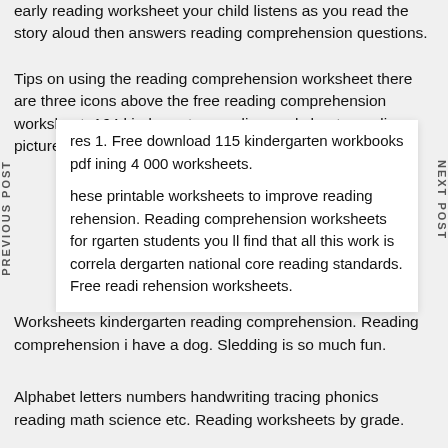early reading worksheet your child listens as you read the story aloud then answers reading comprehension questions.
Tips on using the reading comprehension worksheet there are three icons above the free reading comprehension worksheet. 164 kindergarten reading worksheets reading pictures 1 reading res 1. Free download 115 kindergarten workbooks pdf ining 4 000 worksheets.
hese printable worksheets to improve reading rehension. Reading comprehension worksheets for rgarten students you ll find that all this work is correla dergarten national core reading standards. Free readi rehension worksheets.
Worksheets kindergarten reading comprehension. Reading comprehension i have a dog. Sledding is so much fun.
Alphabet letters numbers handwriting tracing phonics reading math science etc. Reading worksheets by grade.